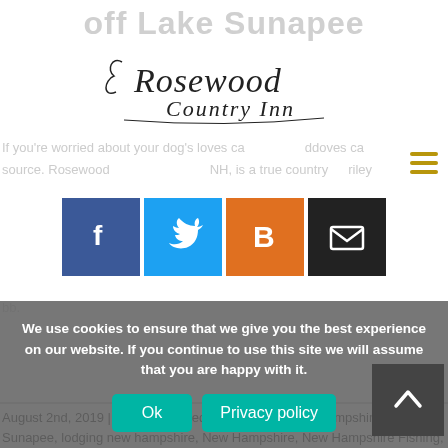off Lake Sunapee
[Figure (logo): Rosewood Country Inn logo with decorative script text]
If you're worried about your dog's loves ca... source. Rosewood... NH, is a true country luxury... dd...
[Figure (infographic): Social share buttons: Facebook (f), Twitter bird, Blogger (B), Email envelope]
August 2nd, 2019 | Categories: bed and breakfast new hampshire, Lake Sunapee, lodging new hampshire, New Hampshire, New Hampshire Fishing, New Hampshire Summer Activities, Summer Guide New Hampshire, Traveling | Tags: boating, Bradford New Hampshire, fishing, Lake Sunapee, Lake Sunapee Boating, Lake Sunapee Fishing, mount sunapee, new hampshire fishing, summer activities, Summer Guide Lake Sunapee NH | 0 Comments
We use cookies to ensure that we give you the best experience on our website. If you continue to use this site we will assume that you are happy with it.